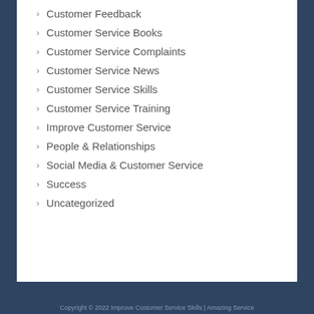Customer Feedback
Customer Service Books
Customer Service Complaints
Customer Service News
Customer Service Skills
Customer Service Training
Improve Customer Service
People & Relationships
Social Media & Customer Service
Success
Uncategorized
Copyright © 2022 Improve Customer Service Skills | Amazing Service